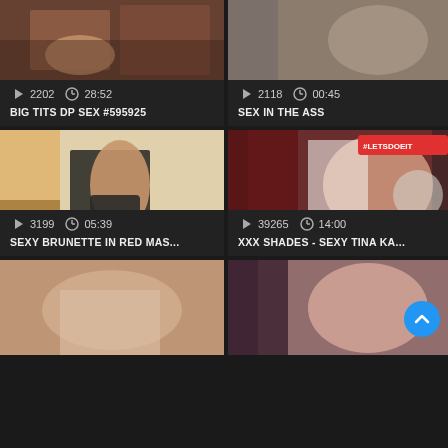[Figure (screenshot): Video thumbnail grid showing adult video website with 6 video cards in 2-column layout. Cards show thumbnails, play counts, durations, and titles.]
2202  28:52  BIG TITS DP SEX #595925
2118  00:45  SEX IN THE ASS
3199  05:39  SEXY BRUNETTE IN RED MAS...
39265  14:00  XXX SHADES - SEXY TINA KA...